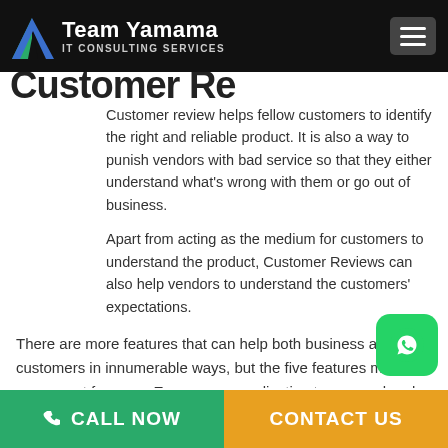Team Yamama IT CONSULTING SERVICES
Customer review helps fellow customers to identify the right and reliable product. It is also a way to punish vendors with bad service so that they either understand what's wrong with them or go out of business.
Apart from acting as the medium for customers to understand the product, Customer Reviews can also help vendors to understand the customers' expectations.
There are more features that can help both business and customers in innumerable ways, but the five features mention are a must for every Ecommerce application to succeed early on. And if you want to build an e-commerce Application to venture into the business, we are one of the best e-commerce app development companies. We also provide consultation services to assist businesses with the right course of ac
CALL NOW    CONTACT US